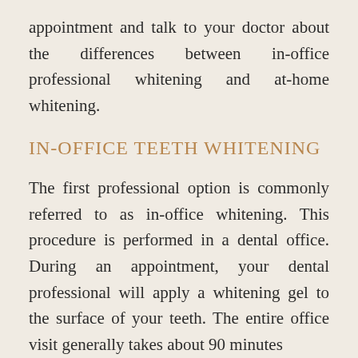appointment and talk to your doctor about the differences between in-office professional whitening and at-home whitening.
IN-OFFICE TEETH WHITENING
The first professional option is commonly referred to as in-office whitening. This procedure is performed in a dental office. During an appointment, your dental professional will apply a whitening gel to the surface of your teeth. The entire office visit generally takes about 90 minutes